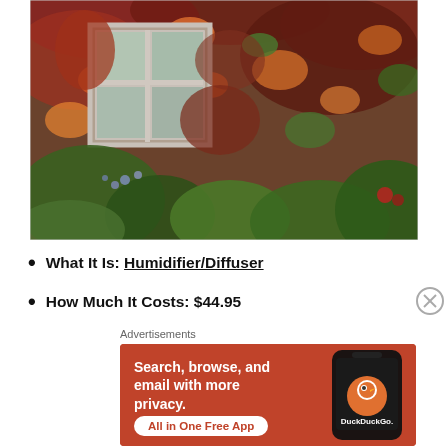[Figure (photo): Photograph of a cottage wall covered with autumn ivy and climbing plants in red, orange and green hues, with a white-framed window visible, and lush green shrubs below.]
What It Is: Humidifier/Diffuser
How Much It Costs: $44.95
Advertisements
[Figure (infographic): DuckDuckGo advertisement banner on orange background with text: Search, browse, and email with more privacy. All in One Free App. Shows a phone with DuckDuckGo logo.]